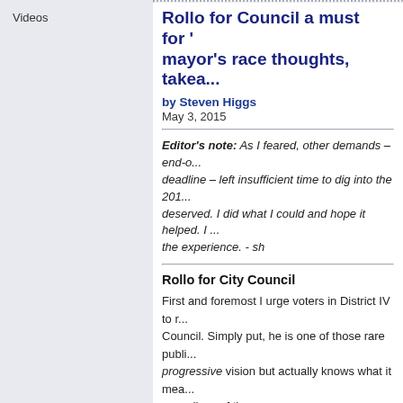Videos
Rollo for Council a must for ... mayor's race thoughts, takea...
by Steven Higgs
May 3, 2015
Editor's note: As I feared, other demands – end-o... deadline – left insufficient time to dig into the 201... deserved. I did what I could and hope it helped. I ... the experience. - sh
Rollo for City Council
First and foremost I urge voters in District IV to r... Council. Simply put, he is one of those rare publi... progressive vision but actually knows what it mea... regardless of the consequences.
SOCIAL JUSTICE | POLITICS | ENVIRONMENT | E... COMMUNITY
Bloomington 2015 mayoral ca... air daily on CATS, April 30 -
by Steven Higgs